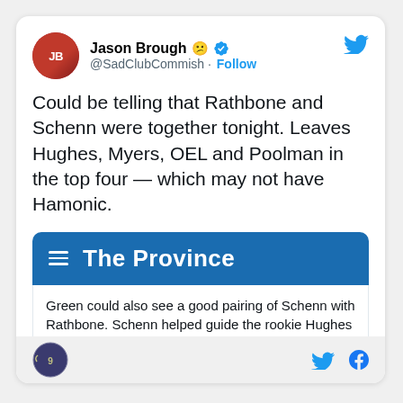Jason Brough 😕 @SadClubCommish · Follow
Could be telling that Rathbone and Schenn were together tonight. Leaves Hughes, Myers, OEL and Poolman in the top four — which may not have Hamonic.
[Figure (logo): The Province newspaper banner with hamburger menu icon and white bold text 'The Province' on blue background]
Green could also see a good pairing of Schenn with Rathbone. Schenn helped guide the rookie Hughes before he left for Tampa Bay in free agency.
Footer with logo and social media icons (Twitter, Facebook)